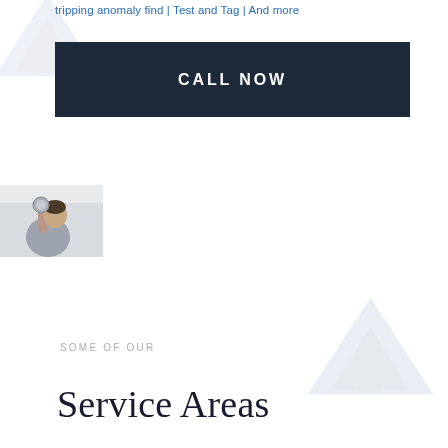tripping anomaly find | Test and Tag | And more
CALL NOW
[Figure (photo): Man installing or adjusting a ceiling light fixture, photographed from below against a light grey background]
SOME OF OUR
Service Areas